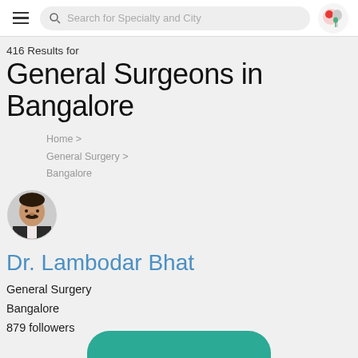Search for Specialty and City
416 Results for
General Surgeons in Bangalore
Home > General Surgery > Bangalore
[Figure (photo): Circular profile photo of Dr. Lambodar Bhat, a middle-aged man in a suit with a mustache]
Dr. Lambodar Bhat
General Surgery
Bangalore
879 followers